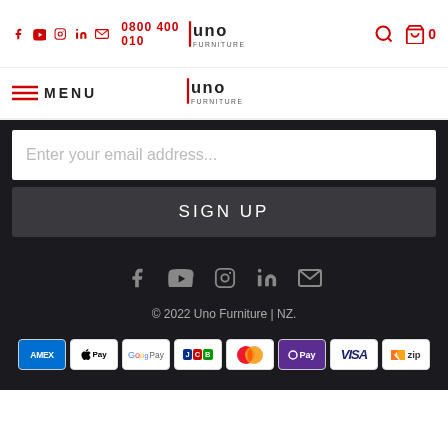Social icons: Facebook, YouTube, Instagram, LinkedIn, Email | 0800 400 010 | MENU | Uno Furniture logo | Search | Cart 0
Enter your email address...
SIGN UP
[Figure (other): Social media icons row: Facebook, YouTube, Instagram, LinkedIn, Email - displayed in grey on dark background]
© 2022 Uno Furniture | NZ.
[Figure (other): Payment method icons: AMEX, Apple Pay, Google Pay, JCB, Mastercard, OPay, VISA, zip]